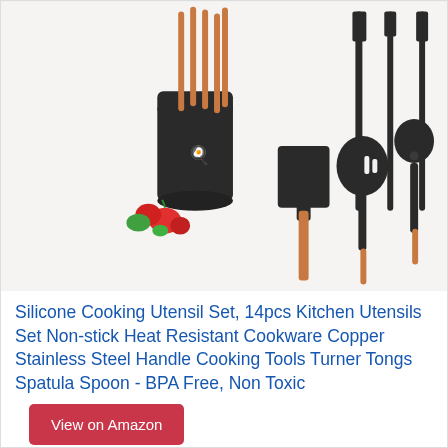[Figure (photo): Kitchen utensil set with black silicone tools and copper stainless steel handles, including spatulas, spoons, tongs, and a black holder cup with tomatoes and vegetables in the background.]
Silicone Cooking Utensil Set, 14pcs Kitchen Utensils Set Non-stick Heat Resistant Cookware Copper Stainless Steel Handle Cooking Tools Turner Tongs Spatula Spoon - BPA Free, Non Toxic
View on Amazon
SCORE
9.2 AI Score
Brand
CHAREADA
Prime
All In One Set: It includes slotted spatula, slotted spoon, flexible spatula, slotted Turner,